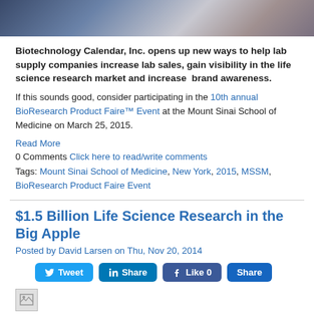[Figure (photo): Partial photo of a biotechnology event or conference scene with people and banner]
Biotechnology Calendar, Inc. opens up new ways to help lab supply companies increase lab sales, gain visibility in the life science research market and increase brand awareness.
If this sounds good, consider participating in the 10th annual BioResearch Product Faire™ Event at the Mount Sinai School of Medicine on March 25, 2015.
Read More
0 Comments Click here to read/write comments
Tags: Mount Sinai School of Medicine, New York, 2015, MSSM, BioResearch Product Faire Event
$1.5 Billion Life Science Research in the Big Apple
Posted by David Larsen on Thu, Nov 20, 2014
[Figure (infographic): Social media share buttons: Tweet, Share (LinkedIn), Like 0 (Facebook), Share]
[Figure (photo): Small broken/loading image placeholder]
Are you interested in reaching the $1.5 Billion New York laboratory...